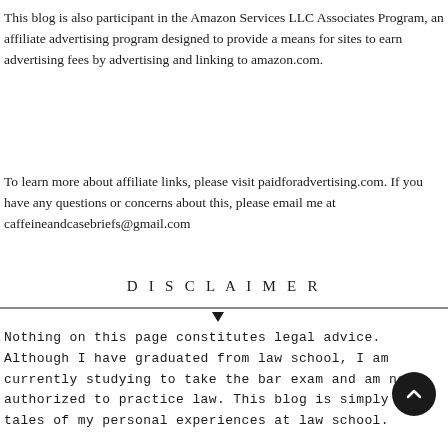This blog is also participant in the Amazon Services LLC Associates Program, an affiliate advertising program designed to provide a means for sites to earn advertising fees by advertising and linking to amazon.com.
To learn more about affiliate links, please visit paidforadvertising.com. If you have any questions or concerns about this, please email me at caffeineandcasebriefs@gmail.com
DISCLAIMER
Nothing on this page constitutes legal advice. Although I have graduated from law school, I am currently studying to take the bar exam and am not authorized to practice law. This blog is simply the tales of my personal experiences at law school.